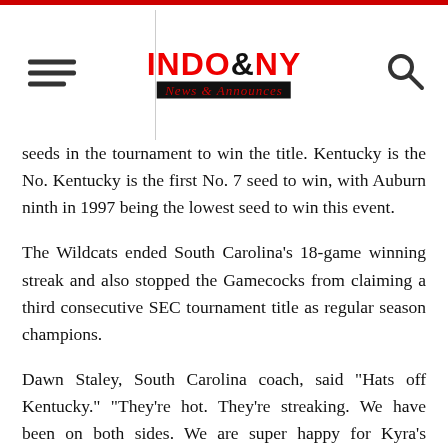INDO & NY News & Announces
seeds in the tournament to win the title. Kentucky is the No. Kentucky is the first No. 7 seed to win, with Auburn ninth in 1997 being the lowest seed to win this event.
The Wildcats ended South Carolina's 18-game winning streak and also stopped the Gamecocks from claiming a third consecutive SEC tournament title as regular season champions.
Dawn Staley, South Carolina coach, said "Hats off Kentucky." "They're hot. They're streaking. We have been on both sides. We are super happy for Kyra's program and their ability weather storms early and emerge as the SEC Tournament Champions.
South Carolina led 45-30 at 4:45 in the third quarter. It